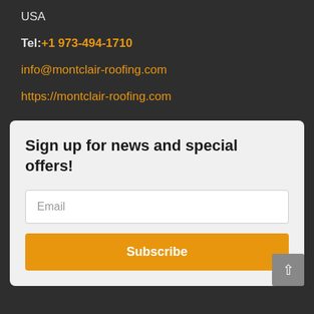USA
Tel: +1 973-494-1710
info@montclair-roofing.com
https://montclair-roofing.com
Sign up for news and special offers!
Email
Subscribe